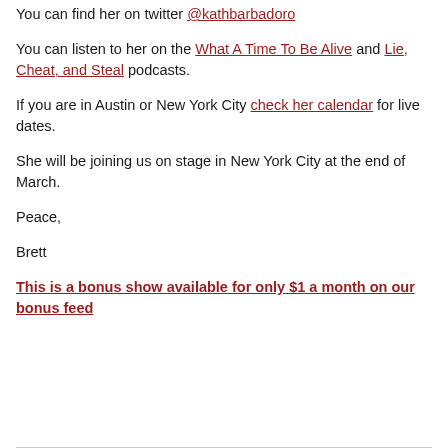You can find her on twitter @kathbarbadoro
You can listen to her on the What A Time To Be Alive and Lie, Cheat, and Steal podcasts.
If you are in Austin or New York City check her calendar for live dates.
She will be joining us on stage in New York City at the end of March.
Peace,
Brett
This is a bonus show available for only $1 a month on our bonus feed